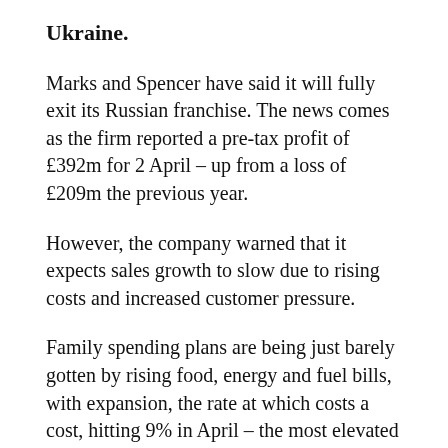Ukraine.
Marks and Spencer have said it will fully exit its Russian franchise. The news comes as the firm reported a pre-tax profit of £392m for 2 April – up from a loss of £209m the previous year.
However, the company warned that it expects sales growth to slow due to rising costs and increased customer pressure.
Family spending plans are being just barely gotten by rising food, energy and fuel bills, with expansion, the rate at which costs a cost, hitting 9% in April – the most elevated level for a very long time.